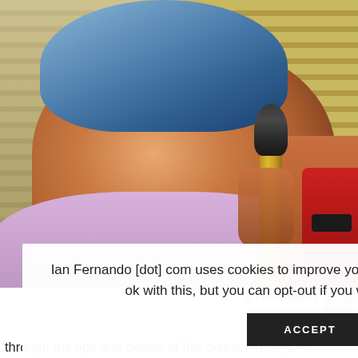[Figure (photo): A man wearing a backwards blue cap and purple shirt, smiling and holding a microphone with a yellow/gold body, photographed in front of venetian blinds backdrop. Another person's arm is visible on the right holding the mic.]
Ian Fernando [dot] com uses cookies to improve your experience. We'll assume you're ok with this, but you can opt-out if you wish.   Cookie settings
ACCEPT
d have been
through the ups and downs of this online industry. A